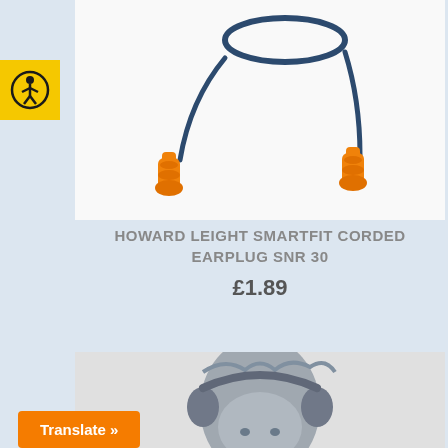[Figure (photo): Orange corded earplugs (Howard Leight SmartFit) with dark blue cord and circular case, on white background]
HOWARD LEIGHT SMARTFIT CORDED EARPLUG SNR 30
£1.89
[Figure (photo): Grey mannequin head wearing hearing protection earmuffs, shown from the side]
Translate »